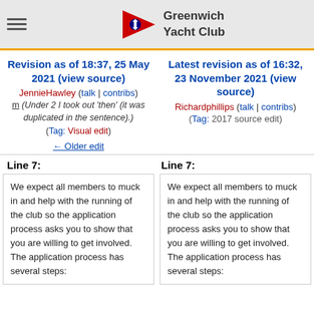Greenwich Yacht Club
Revision as of 18:37, 25 May 2021 (view source)
JennieHawley (talk | contribs)
m (Under 2 I took out 'then' (it was duplicated in the sentence).)
(Tag: Visual edit)
← Older edit
Latest revision as of 16:32, 23 November 2021 (view source)
Richardphillips (talk | contribs)
(Tag: 2017 source edit)
Line 7:
Line 7:
We expect all members to muck in and help with the running of the club so the application process asks you to show that you are willing to get involved.  The application process has several steps:
We expect all members to muck in and help with the running of the club so the application process asks you to show that you are willing to get involved.  The application process has several steps: